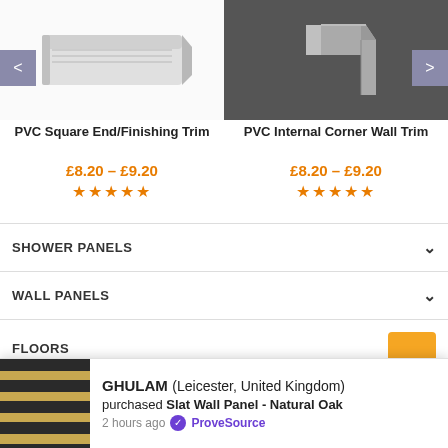[Figure (photo): PVC Square End/Finishing Trim product photo - silver/white trim piece shown at angle on white background]
PVC Square End/Finishing Trim
£8.20 – £9.20
★★★★★
[Figure (photo): PVC Internal Corner Wall Trim product photo - silver corner trim shown on dark grey background]
PVC Internal Corner Wall Trim
£8.20 – £9.20
★★★★★
SHOWER PANELS
WALL PANELS
FLOORS
[Figure (photo): Slat Wall Panel Natural Oak - black and oak wood slat panel product thumbnail]
GHULAM (Leicester, United Kingdom) purchased Slat Wall Panel - Natural Oak 2 hours ago • ProveSource